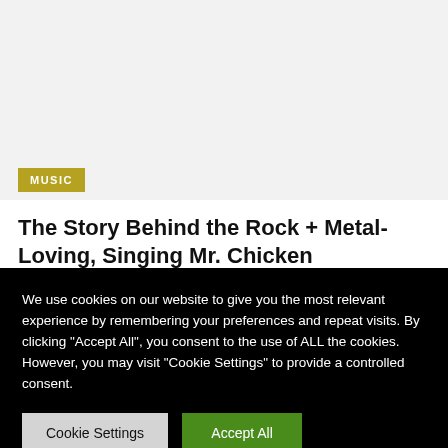[Figure (photo): Light gray image area at top of page, content not visible]
MUSIC
The Story Behind the Rock + Metal-Loving, Singing Mr. Chicken
We use cookies on our website to give you the most relevant experience by remembering your preferences and repeat visits. By clicking "Accept All", you consent to the use of ALL the cookies. However, you may visit "Cookie Settings" to provide a controlled consent.
Cookie Settings | Accept All